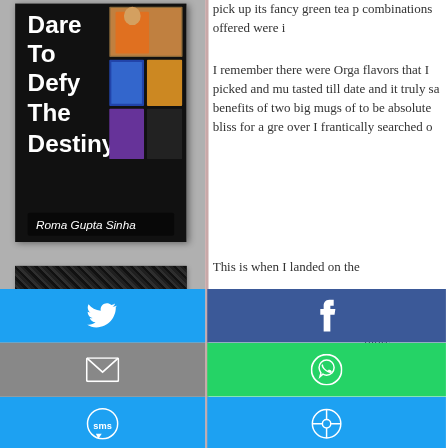[Figure (illustration): Book cover for 'Dare To Defy The Destiny' by Roma Gupta Sinha, with collage of photos on black background]
pick up its fancy green tea p combinations offered were i
I remember there were Orga flavors that I picked and mu tasted till date and it truly sa benefits of two big mugs of to be absolute bliss for a gre over I frantically searched o
This is when I landed on the revelat Authen olors. heir ov nem a
[Figure (screenshot): Social media share buttons: Twitter (blue), Facebook (dark blue), Email (grey), WhatsApp (green), SMS (blue), Other/share (blue)]